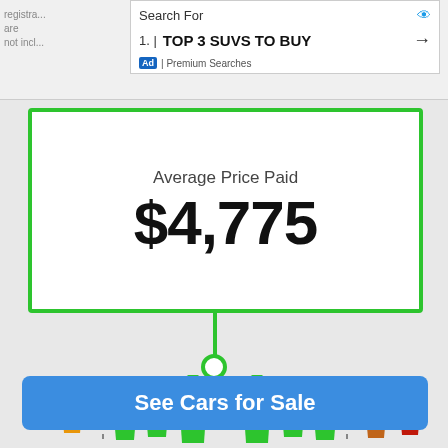registra... are not incl...
Search For
1. TOP 3 SUVS TO BUY →
Ad | Premium Searches
Average Price Paid
$4,775
[Figure (infographic): Infographic showing a white outlined person figure in center connected by a green line to the price box above, surrounded by green, orange, and red person silhouettes representing price comparison percentiles]
See Cars for Sale